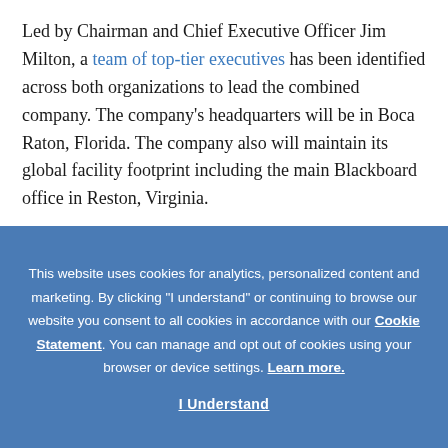Led by Chairman and Chief Executive Officer Jim Milton, a team of top-tier executives has been identified across both organizations to lead the combined company. The company's headquarters will be in Boca Raton, Florida. The company also will maintain its global facility footprint including the main Blackboard office in Reston, Virginia.
"The closing of the transaction represents the next chapter
This website uses cookies for analytics, personalized content and marketing. By clicking "I understand" or continuing to browse our website you consent to all cookies in accordance with our Cookie Statement. You can manage and opt out of cookies using your browser or device settings. Learn more.
I Understand